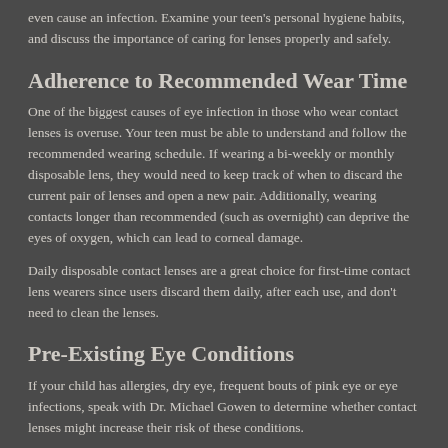even cause an infection. Examine your teen's personal hygiene habits, and discuss the importance of caring for lenses properly and safely.
Adherence to Recommended Wear Time
One of the biggest causes of eye infection in those who wear contact lenses is overuse. Your teen must be able to understand and follow the recommended wearing schedule. If wearing a bi-weekly or monthly disposable lens, they would need to keep track of when to discard the current pair of lenses and open a new pair. Additionally, wearing contacts longer than recommended (such as overnight) can deprive the eyes of oxygen, which can lead to corneal damage.
Daily disposable contact lenses are a great choice for first-time contact lens wearers since users discard them daily, after each use, and don't need to clean the lenses.
Pre-Existing Eye Conditions
If your child has allergies, dry eye, frequent bouts of pink eye or eye infections, speak with Dr. Michael Gowen to determine whether contact lenses might increase their risk of these conditions.